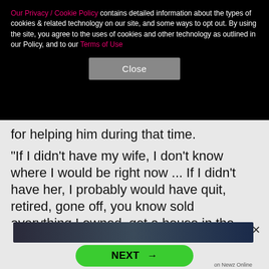Our Privacy / Cookie Policy contains detailed information about the types of cookies & related technology on our site, and some ways to opt out. By using the site, you agree to the uses of cookies and other technology as outlined in our Policy, and to our Terms of Use
Close
for helping him during that time.
"If I didn't have my wife, I don't know where I would be right now ... If I didn't have her, I probably would have quit, retired, gone off, you know sold everything I owned, got a house in the middle of nowhere and just you know did find something else to do, sell real estate," he said.
NEXT →
on Newz Online